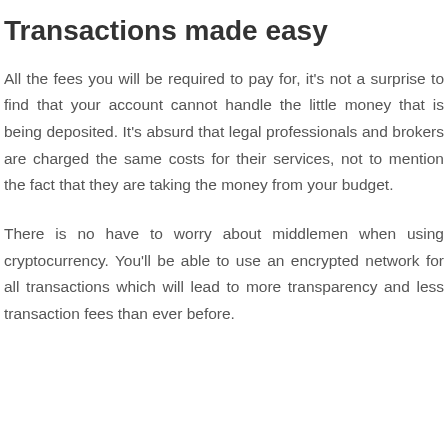Transactions made easy
All the fees you will be required to pay for, it's not a surprise to find that your account cannot handle the little money that is being deposited. It's absurd that legal professionals and brokers are charged the same costs for their services, not to mention the fact that they are taking the money from your budget.
There is no have to worry about middlemen when using cryptocurrency. You'll be able to use an encrypted network for all transactions which will lead to more transparency and less transaction fees than ever before.